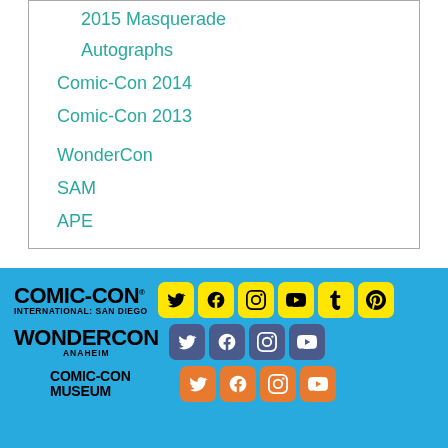2015 Masquerade
Autographs
Comic-Con 2014
Comic-Con 2013
WonderCon
SAM
APE
[Figure (logo): Comic-Con International San Diego logo with social media icons (Twitter, Facebook, Instagram, YouTube, Tumblr, Pinterest) on yellow background]
[Figure (logo): WonderCon Anaheim logo with social media icons (Twitter, Facebook, Instagram, YouTube) on purple background]
[Figure (logo): Comic-Con Museum logo with social media icons (Twitter, Facebook, Instagram, YouTube) on orange background]